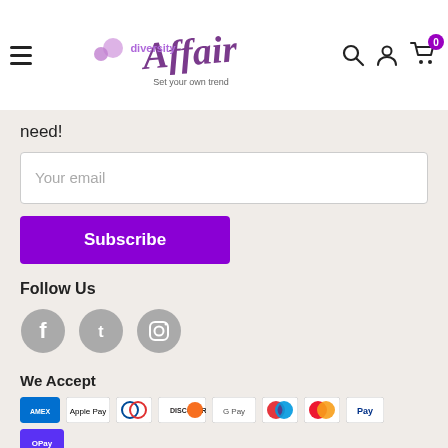[Figure (logo): Diversity Affair logo with skull decorations and tagline 'Set your own trend']
need!
[Figure (other): Email input field with placeholder 'Your email']
[Figure (other): Subscribe button]
Follow Us
[Figure (other): Social media icons: Facebook, Twitter, Instagram]
We Accept
[Figure (other): Payment method icons: Amex, Apple Pay, Diners Club, Discover, Google Pay, Maestro, Mastercard, PayPal, Shop Pay]